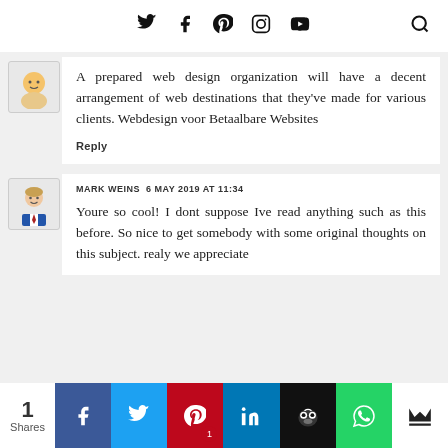Navigation bar with social icons: Twitter, Facebook, Pinterest, Instagram, YouTube, and search icon
A prepared web design organization will have a decent arrangement of web destinations that they've made for various clients. Webdesign voor Betaalbare Websites
Reply
MARK WEINS 6 MAY 2019 AT 11:34
Youre so cool! I dont suppose Ive read anything such as this before. So nice to get somebody with some original thoughts on this subject. realy we appreciate
1 Shares | Facebook | Twitter | Pinterest 1 | LinkedIn | Buffer | WhatsApp | Crown